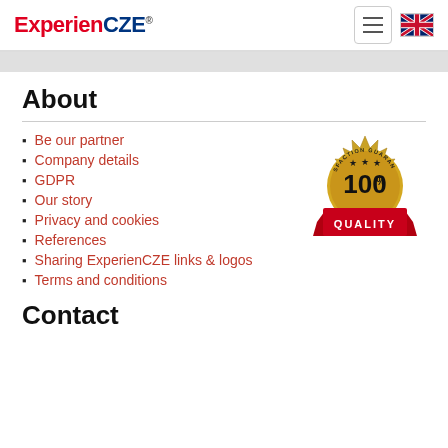ExperienCZE
About
Be our partner
Company details
GDPR
Our story
Privacy and cookies
References
Sharing ExperienCZE links & logos
Terms and conditions
[Figure (illustration): Gold satisfaction guaranteed badge with 100% quality ribbon]
Contact